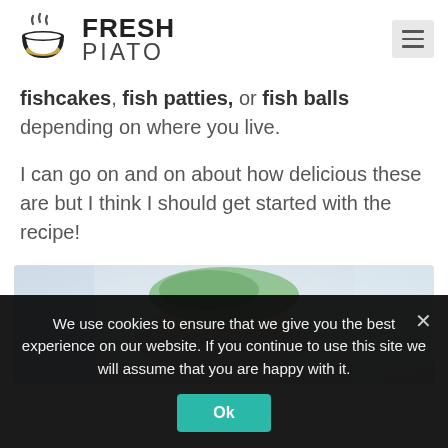[Figure (logo): Fresh Piato logo with a bowl with steam icon and bold text FRESH PIATO]
fishcakes, fish patties, or fish balls depending on where you live.
I can go on and on about how delicious these are but I think I should get started with the recipe!
[Figure (photo): Blurred photo of a bowl with green herbs/salad on a white surface]
We use cookies to ensure that we give you the best experience on our website. If you continue to use this site we will assume that you are happy with it.